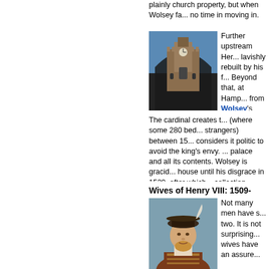plainly church property, but when Wolsey fa... no time in moving in.
[Figure (photo): Photograph of a Tudor castle gatehouse with a clock tower, viewed through an arch]
Further upstream Her... lavishly rebuilt by his f... Beyond that, at Hamp... from Wolsey's energies...
The cardinal creates t... (where some 280 bed... strangers) between 15... considers it politic to avoid the king's envy. ... palace and all its contents. Wolsey is gracid... house until his disgrace in 1529, after whic... collection.
Wives of Henry VIII: 1509-1547
[Figure (photo): Portrait painting of Henry VIII wearing a hat with a feather]
Not many men have s... two. It is not surprising... wives have an assure...
The king is married to... nearly two and a half c... wives into just fourteen... Anne Boleyn, at first... years. The king is disappointed that her firs... queen Elizabeth). He is further distressed v... miscarriage, probably of a male child, in Ja... year she is suddenly sent to the Tower on c...
[Figure (photo): Image of an old handwritten document or manuscript]
It is not known whethe... accusation, but those...